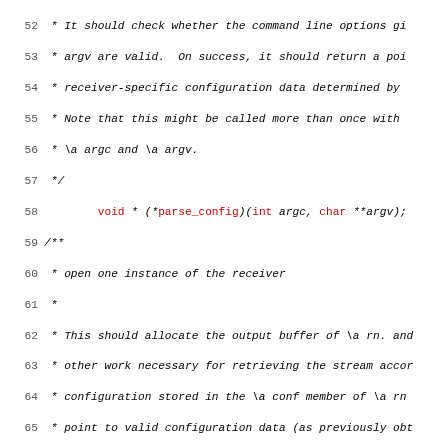Source code listing showing C struct documentation comments and function pointer declarations for a receiver plugin API, lines 52–83.